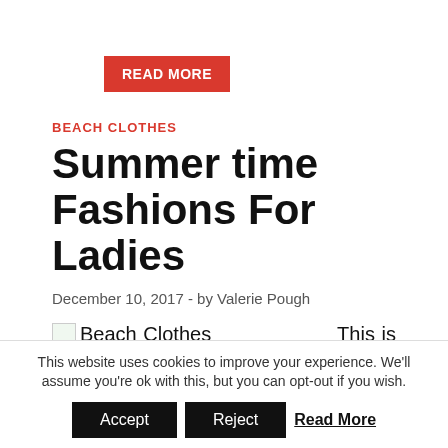[Figure (other): Red 'READ MORE' button]
BEACH CLOTHES
Summer time Fashions For Ladies
December 10, 2017  -  by Valerie Pough
Beach Clothes  This is your day, so you will need to appear like a princess or a queen in white gown. No matter the size or age
This website uses cookies to improve your experience. We'll assume you're ok with this, but you can opt-out if you wish.
[Figure (other): Accept and Reject buttons with Read More link in cookie consent bar]